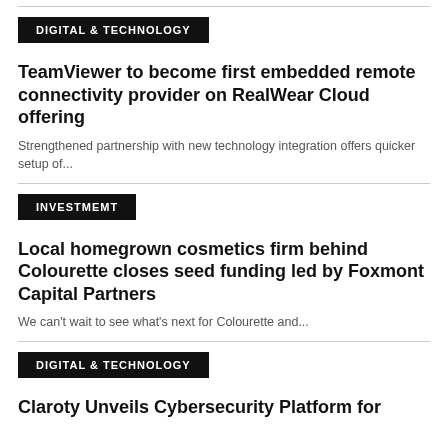DIGITAL & TECHNOLOGY
TeamViewer to become first embedded remote connectivity provider on RealWear Cloud offering
Strengthened partnership with new technology integration offers quicker setup of...
INVESTMEMT
Local homegrown cosmetics firm behind Colourette closes seed funding led by Foxmont Capital Partners
We can't wait to see what's next for Colourette and...
DIGITAL & TECHNOLOGY
Claroty Unveils Cybersecurity Platform for